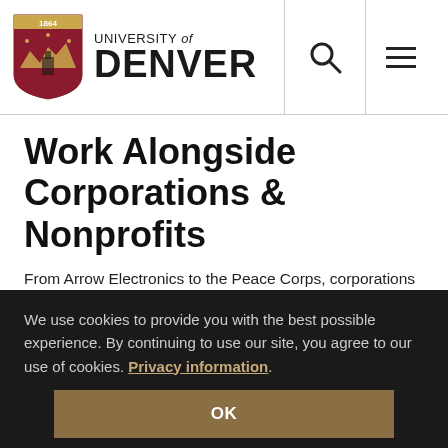University of Denver
Work Alongside Corporations & Nonprofits
From Arrow Electronics to the Peace Corps, corporations and nonprofits from Colorado and across the world rely on our students and faculty as problem solvers. These relationships
We use cookies to provide you with the best possible experience. By continuing to use our site, you agree to our use of cookies. Privacy information.
OK